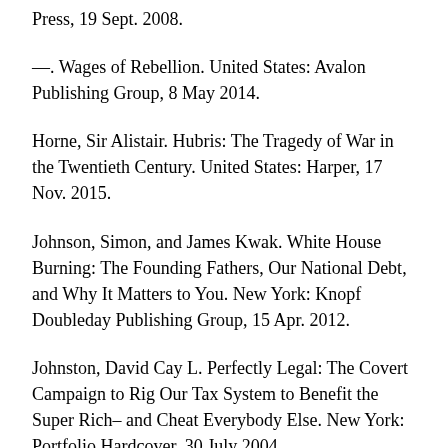—. Wages of Rebellion. United States: Avalon Publishing Group, 8 May 2014.
Horne, Sir Alistair. Hubris: The Tragedy of War in the Twentieth Century. United States: Harper, 17 Nov. 2015.
Johnson, Simon, and James Kwak. White House Burning: The Founding Fathers, Our National Debt, and Why It Matters to You. New York: Knopf Doubleday Publishing Group, 15 Apr. 2012.
Johnston, David Cay L. Perfectly Legal: The Covert Campaign to Rig Our Tax System to Benefit the Super Rich– and Cheat Everybody Else. New York: Portfolio Hardcover, 30 July 2004.
Kuttner, Robert. The Squandering of America: How